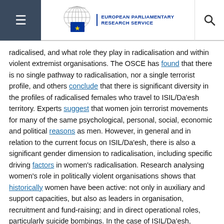European Parliamentary Research Service
radicalised, and what role they play in radicalisation and within violent extremist organisations. The OSCE has found that there is no single pathway to radicalisation, nor a single terrorist profile, and others conclude that there is significant diversity in the profiles of radicalised females who travel to ISIL/Da'esh territory. Experts suggest that women join terrorist movements for many of the same psychological, personal, social, economic and political reasons as men. However, in general and in relation to the current focus on ISIL/Da'esh, there is also a significant gender dimension to radicalisation, including specific driving factors in women's radicalisation. Research analysing women's role in politically violent organisations shows that historically women have been active: not only in auxiliary and support capacities, but also as leaders in organisation, recruitment and fund-raising; and in direct operational roles, particularly suicide bombings. In the case of ISIL/Da'esh, women play crucial roles in spreading the organisation's militant Islamic ideology and recruiting other women through online platforms. Rather than taking part in combat, their responsibility is portrayed, first and foremost, as being a good wife (jihadi bride) to